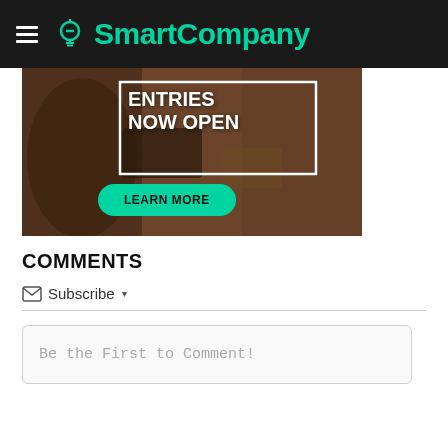SmartCompany
[Figure (photo): Banner advertisement showing a person handling coffee beans with text 'ENTRIES NOW OPEN' and a 'LEARN MORE' button on a teal background.]
COMMENTS
Subscribe
Be the First to Comment!